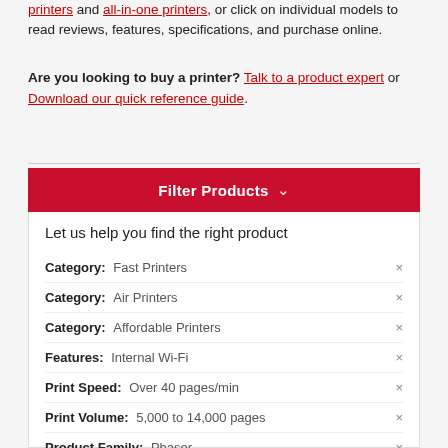printers and all-in-one printers, or click on individual models to read reviews, features, specifications, and purchase online.
Are you looking to buy a printer? Talk to a product expert or Download our quick reference guide.
Filter Products
Let us help you find the right product
Category: Fast Printers
Category: Air Printers
Category: Affordable Printers
Features: Internal Wi-Fi
Print Speed: Over 40 pages/min
Print Volume: 5,000 to 14,000 pages
Product Family: Phaser